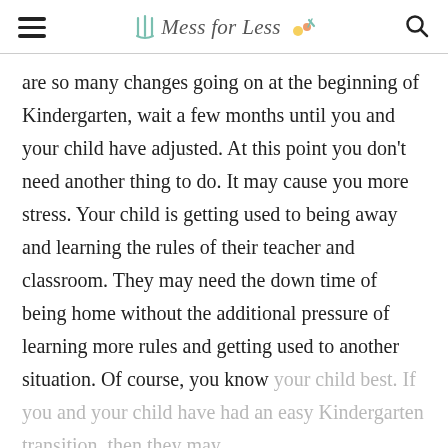Mess for Less
are so many changes going on at the beginning of Kindergarten, wait a few months until you and your child have adjusted. At this point you don't need another thing to do. It may cause you more stress. Your child is getting used to being away and learning the rules of their teacher and classroom. They may need the down time of being home without the additional pressure of learning more rules and getting used to another situation. Of course, you know your child best. If you and your child have had an easy Kindergarten transition, then they may